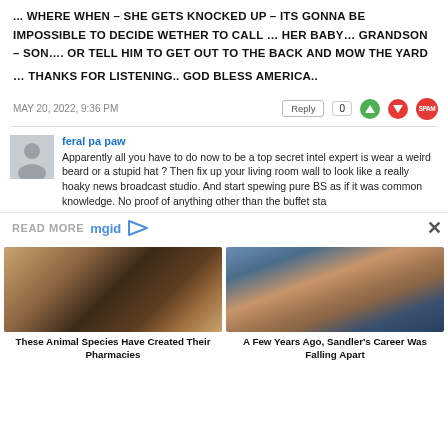... WHERE WHEN – SHE GETS KNOCKED UP – ITS GONNA BE IMPOSSIBLE TO DECIDE WETHER TO CALL … HER BABY… GRANDSON – SON…. OR TELL HIM TO GET OUT TO THE BACK AND MOW THE YARD
… THANKS FOR LISTENING.. GOD BLESS AMERICA..
MAY 20, 2022, 9:36 PM
feral pa paw
Apparently all you have to do now to be a top secret intel expert is wear a weird beard or a stupid hat ? Then fix up your living room wall to look like a really hoaky news broadcast studio. And start spewing pure BS as if it was common knowledge. No proof of anything other than the buffet sta
READ MORE
These Animal Species Have Created Their Pharmacies
A Few Years Ago, Sandler's Career Was Falling Apart
[Figure (photo): Close-up photo of a fuzzy caterpillar resting on a human hand]
[Figure (photo): Photo of Adam Sandler, a bearded man in a striped shirt, looking to the side]